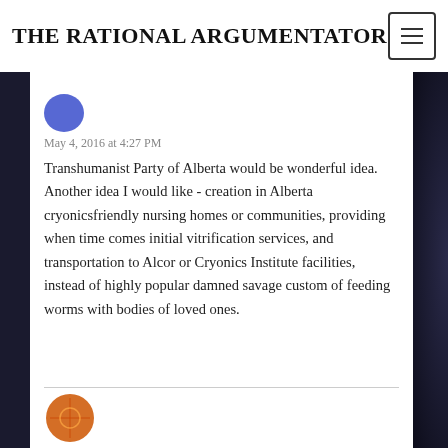THE RATIONAL ARGUMENTATOR
[Figure (illustration): Partial blue circular avatar/profile image at top of comment]
May 4, 2016 at 4:27 PM
Transhumanist Party of Alberta would be wonderful idea. Another idea I would like - creation in Alberta cryonicsfriendly nursing homes or communities, providing when time comes initial vitrification services, and transportation to Alcor or Cryonics Institute facilities, instead of highly popular damned savage custom of feeding worms with bodies of loved ones.
[Figure (illustration): Partial orange circular avatar/logo at bottom of page]